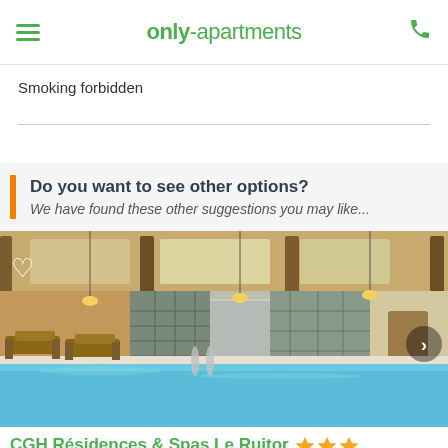only-apartments
Smoking forbidden
Do you want to see other options?
We have found these other suggestions you may like...
[Figure (photo): Indoor swimming pool with wooden beam ceiling, lounge chairs, stone walls, and hanging lights]
CGH Résidences & Spas Le Ruitor ★★★★